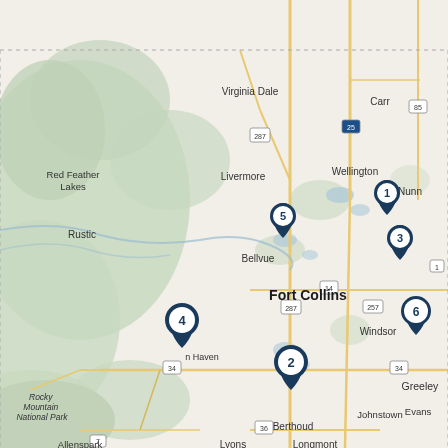[Figure (map): A regional map of Northern Colorado showing the Fort Collins area. The map includes labeled locations: Virginia Dale, Livermore, Red Feather Lakes, Rustic, Bellvue, Wellington, Carr, Nunn, Fort Collins, Windsor, Greeley, Evans, Johnstown, Berthoud, Lyons, Allenspark, Longmont, and Rocky Mountain National Park. Six numbered dark navy pin markers are placed at various locations: Pin 1 and Pin 3 near Greeley/east of Fort Collins, Pin 5 near Bellvue/north of Fort Collins, Pin 2 near Berthoud/south of Fort Collins, Pin 4 to the west near Masonville/Haven area, Pin 6 near Greeley. Roads including US-287, US-25, Highway 85, Highway 14, Highway 257, Highway 34, Highway 36, and Highway 7 are visible.]